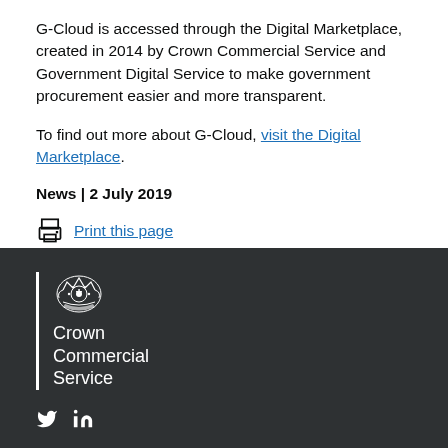G-Cloud is accessed through the Digital Marketplace, created in 2014 by Crown Commercial Service and Government Digital Service to make government procurement easier and more transparent.
To find out more about G-Cloud, visit the Digital Marketplace.
News | 2 July 2019
Print this page
[Figure (logo): Crown Commercial Service logo with crest and organization name on dark background]
[Figure (logo): Twitter and LinkedIn social media icons in footer]